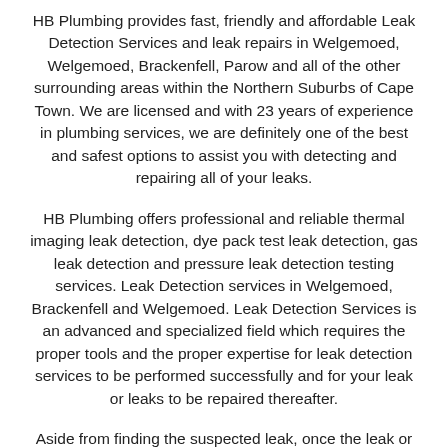HB Plumbing provides fast, friendly and affordable Leak Detection Services and leak repairs in Welgemoed, Welgemoed, Brackenfell, Parow and all of the other surrounding areas within the Northern Suburbs of Cape Town. We are licensed and with 23 years of experience in plumbing services, we are definitely one of the best and safest options to assist you with detecting and repairing all of your leaks.
HB Plumbing offers professional and reliable thermal imaging leak detection, dye pack test leak detection, gas leak detection and pressure leak detection testing services. Leak Detection services in Welgemoed, Brackenfell and Welgemoed. Leak Detection Services is an advanced and specialized field which requires the proper tools and the proper expertise for leak detection services to be performed successfully and for your leak or leaks to be repaired thereafter.
Aside from finding the suspected leak, once the leak or leaks have been identified, it is in your best interest to have a qualified and licensed plumber repair your leak in a practical economical inexpensive way where possible. HB Plumbing is experienced, licensed, accredited and competent enough to find and fix your leak.